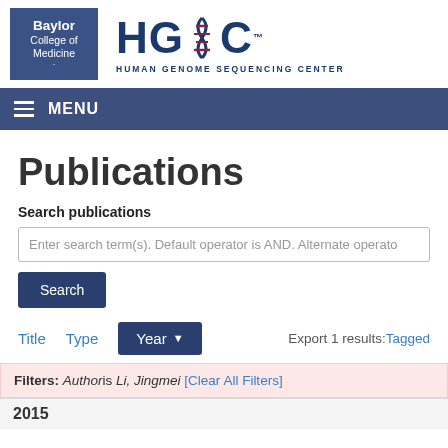[Figure (logo): Baylor College of Medicine and HGSC Human Genome Sequencing Center logos side by side]
MENU
Publications
Search publications
Enter search term(s). Default operator is AND. Alternate operato
Search
Title   Type   Year ▾   Export 1 results: Tagged
Filters: Author is Li, Jingmei [Clear All Filters]
2015